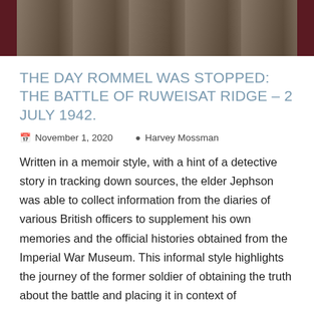[Figure (photo): Partial black-and-white or dark-toned photograph of soldiers or military personnel, cropped at top]
THE DAY ROMMEL WAS STOPPED: THE BATTLE OF RUWEISAT RIDGE – 2 JULY 1942.
November 1, 2020   Harvey Mossman
Written in a memoir style, with a hint of a detective story in tracking down sources, the elder Jephson was able to collect information from the diaries of various British officers to supplement his own memories and the official histories obtained from the Imperial War Museum. This informal style highlights the journey of the former soldier of obtaining the truth about the battle and placing it in context of